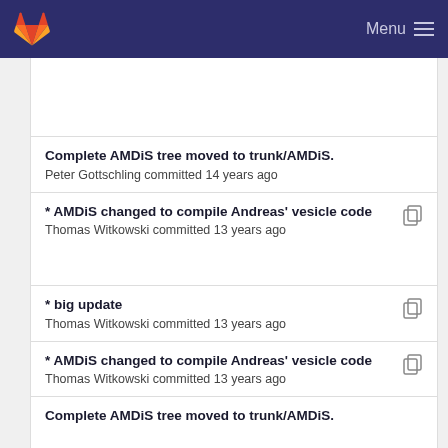Menu
Complete AMDiS tree moved to trunk/AMDiS.
Peter Gottschling committed 14 years ago
* AMDiS changed to compile Andreas' vesicle code
Thomas Witkowski committed 13 years ago
* big update
Thomas Witkowski committed 13 years ago
* AMDiS changed to compile Andreas' vesicle code
Thomas Witkowski committed 13 years ago
Complete AMDiS tree moved to trunk/AMDiS.